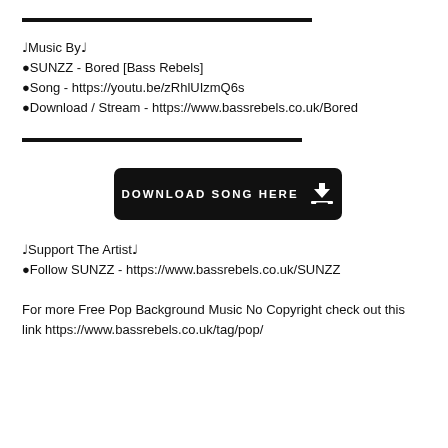♩Music By♩
●SUNZZ - Bored [Bass Rebels]
●Song - https://youtu.be/zRhlUIzmQ6s
●Download / Stream - https://www.bassrebels.co.uk/Bored
[Figure (other): DOWNLOAD SONG HERE button with download icon]
♩Support The Artist♩
●Follow SUNZZ - https://www.bassrebels.co.uk/SUNZZ
For more Free Pop Background Music No Copyright check out this link https://www.bassrebels.co.uk/tag/pop/